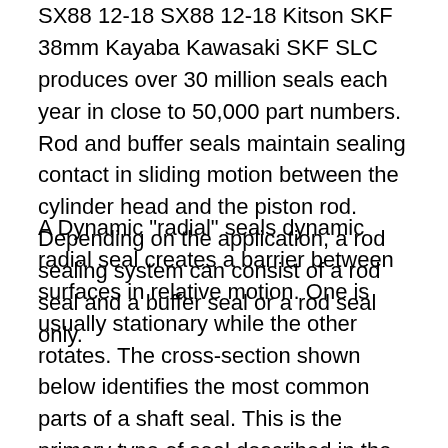SX88 12-18 SX88 12-18 Kitson SKF 38mm Kayaba Kawasaki SKF SLC produces over 30 million seals each year in close to 50,000 part numbers. Rod and buffer seals maintain sealing contact in sliding motion between the cylinder head and the piston rod. Depending on the application, a rod sealing system can consist of a rod seal and a buffer seal or a rod seal only.
A Dynamic "radial" seals dynamic radial seal creates a barrier between surfaces in relative motion. One is usually stationary while the other rotates. The cross-section shown below identifies the most common parts of a shaft seal. This is the primary type of seal described in the SKF Seal handbook. SKF – the knowledge engineering company 3 SKF industrial seals and accessories comprising 4 Radial shaft seals 5 Sealing lip contact